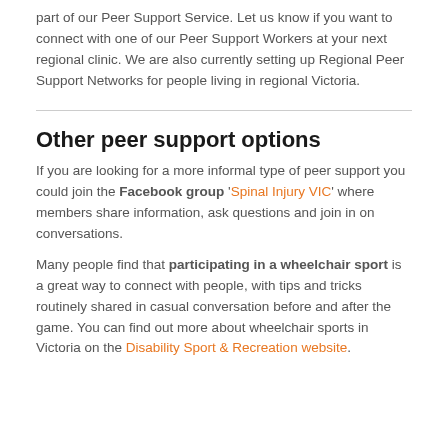part of our Peer Support Service. Let us know if you want to connect with one of our Peer Support Workers at your next regional clinic. We are also currently setting up Regional Peer Support Networks for people living in regional Victoria.
Other peer support options
If you are looking for a more informal type of peer support you could join the Facebook group 'Spinal Injury VIC' where members share information, ask questions and join in on conversations.
Many people find that participating in a wheelchair sport is a great way to connect with people, with tips and tricks routinely shared in casual conversation before and after the game. You can find out more about wheelchair sports in Victoria on the Disability Sport & Recreation website.